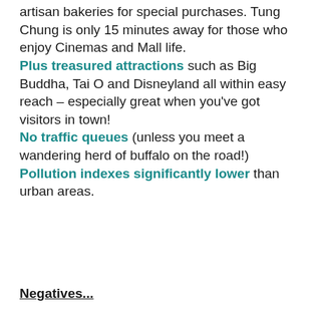artisan bakeries for special purchases. Tung Chung is only 15 minutes away for those who enjoy Cinemas and Mall life. Plus treasured attractions such as Big Buddha, Tai O and Disneyland all within easy reach – especially great when you've got visitors in town! No traffic queues (unless you meet a wandering herd of buffalo on the road!) Pollution indexes significantly lower than urban areas.
Negatives...
Admittedly, it's hard for me to list real negatives to living on South Lantau, though the commute and